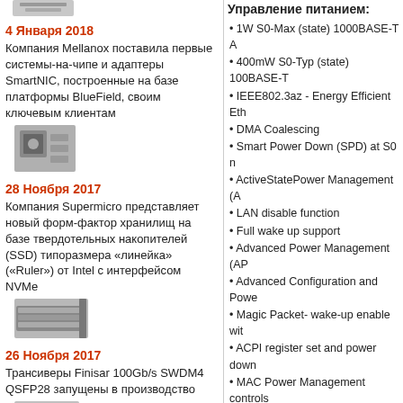[Figure (photo): Small thumbnail image of a hardware device (top of left column, partially visible)]
4 Января 2018
Компания Mellanox поставила первые системы-на-чипе и адаптеры SmartNIC, построенные на базе платформы BlueField, своим ключевым клиентам
[Figure (photo): Small thumbnail image of a chip/hardware component]
28 Ноября 2017
Компания Supermicro представляет новый форм-фактор хранилищ на базе твердотельных накопителей (SSD) типоразмера «линейка» («Ruler») от Intel с интерфейсом NVMe
[Figure (photo): Small thumbnail image of a rack-mounted server or storage device]
26 Ноября 2017
Трансиверы Finisar 100Gb/s SWDM4 QSFP28 запущены в производство
[Figure (photo): Small thumbnail image of a transceiver module (partially visible at bottom)]
Управление питанием:
• 1W S0-Max (state) 1000BASE-T A
• 400mW S0-Typ (state) 100BASE-T
• IEEE802.3az - Energy Efficient Eth
• DMA Coalescing
• Smart Power Down (SPD) at S0 n
• ActiveStatePower Management (A
• LAN disable function
• Full wake up support
• Advanced Power Management (AP
• Advanced Configuration and Powe
• Magic Packet- wake-up enable wit
• ACPI register set and power down
• MAC Power Management controls
• Low Power Link Up - Link Speed C
• Power Management Protocol Offlo
• Latency Tolerance Reporting (LTR
Виртуализация:
• Eight transmit (Tx) and receive (Rx
• Flexible Port Partitioning:
• 32 Virtual Functions on Quad-port
• Support for PCI-SIG SR-IOV spec
• Rx/Tx Round-Robin Scheduling